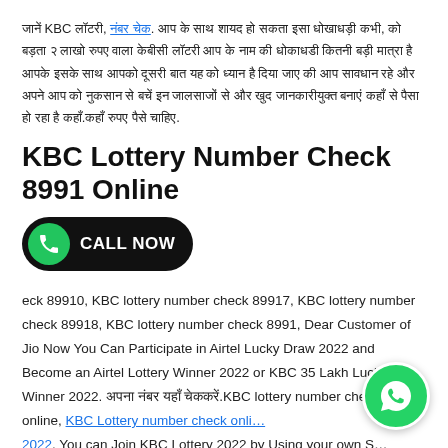जानें KBC लॉटरी, नंबर चेक. आप के साथ शायद हो सकता इसा धोखाधड़ी कभी, को बड़ता २ लाखो रुपए वाला केबीसी लॉटरी आप के नाम की धोकाधडी कितनी बड़ी मात्रा है आपके इसके साथ आपको दूसरी बात यह को ध्यान है दिया जाए की आप सावधान रहे और अपने आप को नुकसान से बचें इन जालसाजों से और खुद जानकारीयुक्त बनाएं कहाँ से पैसा हो रहा है कहाँ.कहाँ रुपए पैसे चाहिए.
KBC Lottery Number Check 8991 Online
[Figure (other): Green WhatsApp call button with phone icon and text CALL NOW on dark background]
eck 89910, KBC lottery number check 89917, KBC lottery number check 89918, KBC lottery number check 8991, Dear Customer of Jio Now You Can Participate in Airtel Lucky Draw 2022 and Become an Airtel Lottery Winner 2022 or KBC 35 Lakh Lucky Winner 2022. अपना नंबर यहाँ चेककरें.KBC lottery number check 8991 online, KBC Lottery number check online 2022. You can Join KBC Lottery 2022 by Using your own SIM Cards of Jio, Idea, Airtel, Vodafone, and Get a Chance to make
[Figure (other): Floating WhatsApp icon button in bottom right corner]